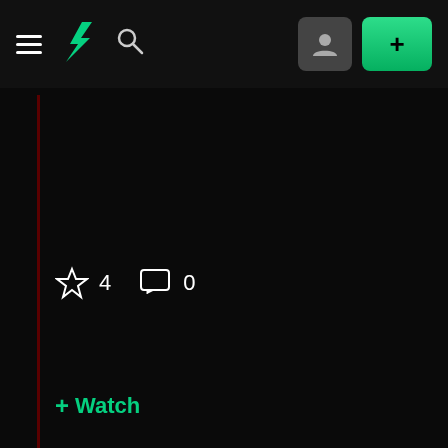[Figure (screenshot): DeviantArt website screenshot showing dark-themed navigation bar with hamburger menu, DA logo, search icon, user profile button, and green plus button. Main content area is dark/black. Bottom shows star rating (4), comment count (0), and a green Watch button.]
4
0
+ Watch